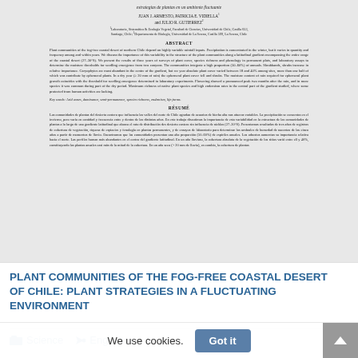[Figure (screenshot): Scanned/rendered PDF page of a scientific journal article showing title, authors, affiliations, abstract in English and résumé in Spanish]
PLANT COMMUNITIES OF THE FOG-FREE COASTAL DESERT OF CHILE: PLANT STRATEGIES IN A FLUCTUATING ENVIRONMENT
Science  English